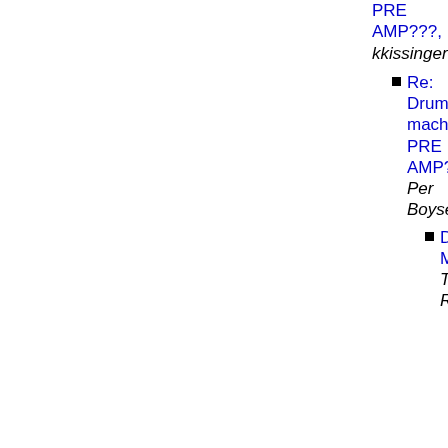PRE AMP???, kkissinger
Re: Drum machine PRE AMP???, Per Boysen
Dru... MA... To... Re...